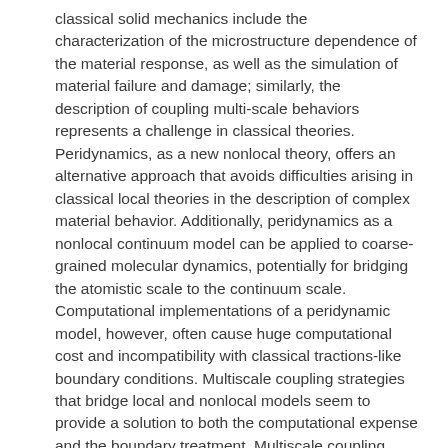classical solid mechanics include the characterization of the microstructure dependence of the material response, as well as the simulation of material failure and damage; similarly, the description of coupling multi-scale behaviors represents a challenge in classical theories. Peridynamics, as a new nonlocal theory, offers an alternative approach that avoids difficulties arising in classical local theories in the description of complex material behavior. Additionally, peridynamics as a nonlocal continuum model can be applied to coarse-grained molecular dynamics, potentially for bridging the atomistic scale to the continuum scale. Computational implementations of a peridynamic model, however, often cause huge computational cost and incompatibility with classical tractions-like boundary conditions. Multiscale coupling strategies that bridge local and nonlocal models seem to provide a solution to both the computational expense and the boundary treatment. Multiscale coupling methods, in general, refer to the class of mathematical and computational techniques for the problems that exhibit characteristic features at multiple scales. Several of these